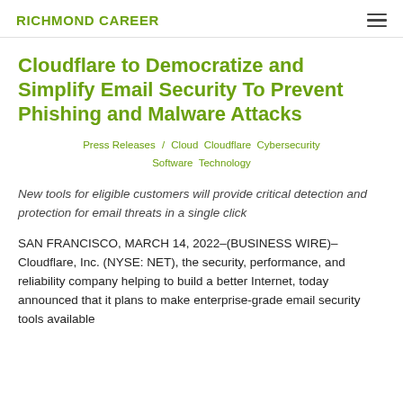RICHMOND CAREER
Cloudflare to Democratize and Simplify Email Security To Prevent Phishing and Malware Attacks
Press Releases / Cloud Cloudflare Cybersecurity Software Technology
New tools for eligible customers will provide critical detection and protection for email threats in a single click
SAN FRANCISCO, MARCH 14, 2022–(BUSINESS WIRE)–Cloudflare, Inc. (NYSE: NET), the security, performance, and reliability company helping to build a better Internet, today announced that it plans to make enterprise-grade email security tools available